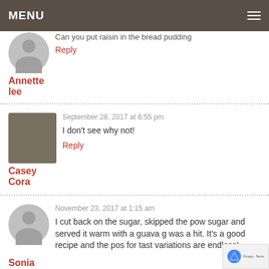MENU
Can you put raisin in the bread pudding
Annette lee
Reply
September 28, 2017 at 6:55 pm
I don't see why not!
Casey Cora
Reply
November 23, 2017 at 1:15 am
I cut back on the sugar, skipped the pow sugar and served it warm with a guava g was a hit. It's a good recipe and the pos for tast variations are endless!
Sonia